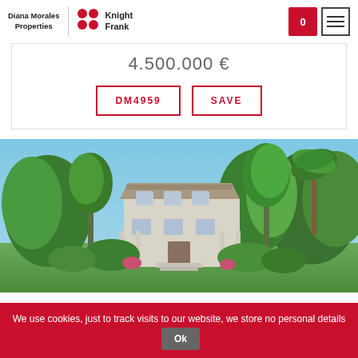Diana Morales Properties | Knight Frank
4.500.000 €
DM4959
SAVE
[Figure (photo): Exterior photo of a large luxury villa surrounded by mature trees and lush green gardens under a blue sky]
We use cookies, just to track visits to our website, we store no personal details  Ok